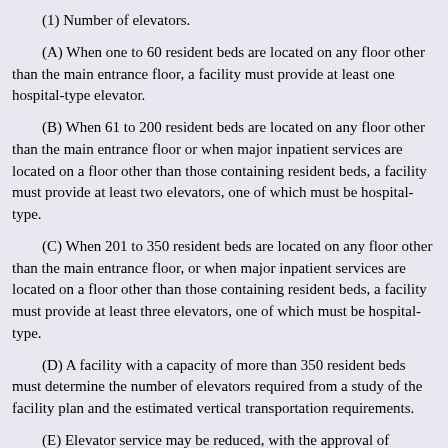(1) Number of elevators.
(A) When one to 60 resident beds are located on any floor other than the main entrance floor, a facility must provide at least one hospital-type elevator.
(B) When 61 to 200 resident beds are located on any floor other than the main entrance floor or when major inpatient services are located on a floor other than those containing resident beds, a facility must provide at least two elevators, one of which must be hospital-type.
(C) When 201 to 350 resident beds are located on any floor other than the main entrance floor, or when major inpatient services are located on a floor other than those containing resident beds, a facility must provide at least three elevators, one of which must be hospital-type.
(D) A facility with a capacity of more than 350 resident beds must determine the number of elevators required from a study of the facility plan and the estimated vertical transportation requirements.
(E) Elevator service may be reduced, with the approval of HHSC, for those floors that provide only partial inpatient